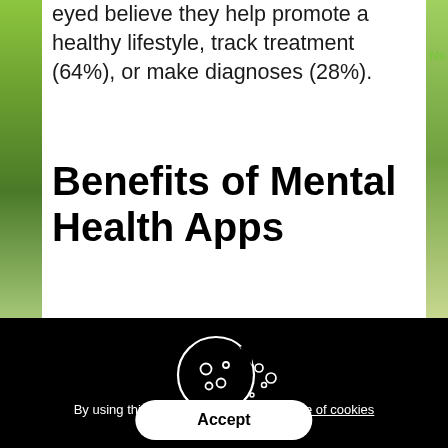eyed believe they help promote a healthy lifestyle, track treatment (64%), or make diagnoses (28%).
Benefits of Mental Health Apps
[Figure (illustration): Cookie icon — a bitten cookie with crumbs, drawn in white outline on black background, representing a browser cookie consent notice]
By using this web site you accept our use of cookies
Accept